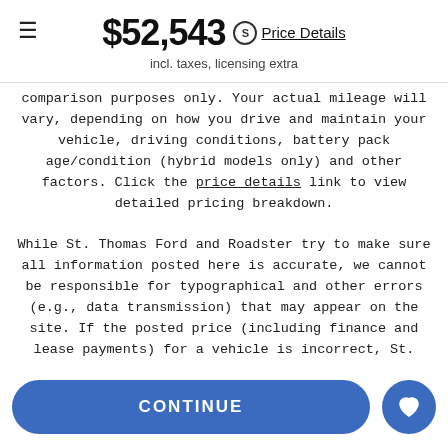$52,543 Price Details incl. taxes, licensing extra
comparison purposes only. Your actual mileage will vary, depending on how you drive and maintain your vehicle, driving conditions, battery pack age/condition (hybrid models only) and other factors. Click the price details link to view detailed pricing breakdown.

While St. Thomas Ford and Roadster try to make sure all information posted here is accurate, we cannot be responsible for typographical and other errors (e.g., data transmission) that may appear on the site. If the posted price (including finance and lease payments) for a vehicle is incorrect, St. Thomas Ford and Roadster will endeavor to provide you with the correct prices as soon as we become aware of the error. In the event a vehicle is priced incorrectly, St. Thomas Ford shall have the right to refuse or cancel any orders placed for the vehicle presented with the incorrect price. In addition, vehicle prices are subject to change and all vehicles are subject to prior sale and may not be available when you are ready to purchase. AutoIQ.com and it's dealerships reserve the right, in their sole discretion, to withdraw transactions suspected of purchase for the